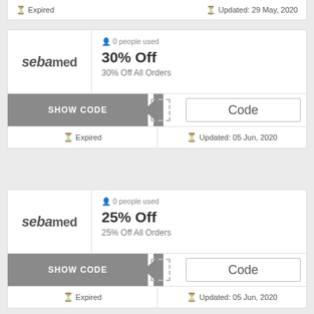Expired | Updated: 29 May, 2020
[Figure (logo): Sebamed brand logo]
0 people used
30% Off
30% Off All Orders
SHOW CODE | Code
Expired | Updated: 05 Jun, 2020
[Figure (logo): Sebamed brand logo]
0 people used
25% Off
25% Off All Orders
SHOW CODE | Code
Expired | Updated: 05 Jun, 2020